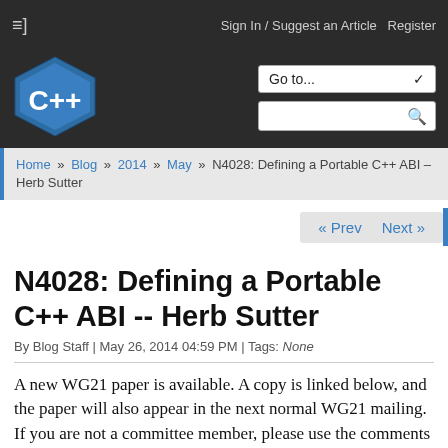≡] Sign In / Suggest an Article  Register
[Figure (logo): C++ hexagonal logo in blue with white C++ text]
Go to... [dropdown] [search box]
Home » Blog » 2014 » May » N4028: Defining a Portable C++ ABI – Herb Sutter
« Prev  Next »
N4028: Defining a Portable C++ ABI -- Herb Sutter
By Blog Staff | May 26, 2014 04:59 PM | Tags: None
A new WG21 paper is available. A copy is linked below, and the paper will also appear in the next normal WG21 mailing. If you are not a committee member, please use the comments section below or the